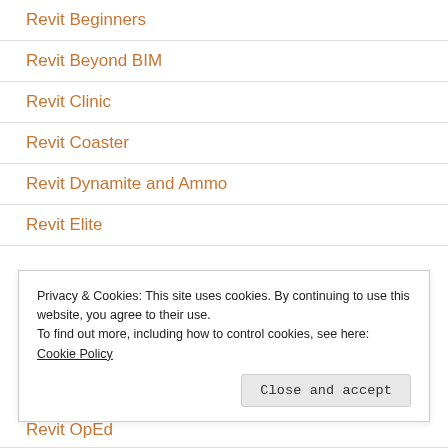Revit Beginners
Revit Beyond BIM
Revit Clinic
Revit Coaster
Revit Dynamite and Ammo
Revit Elite
Privacy & Cookies: This site uses cookies. By continuing to use this website, you agree to their use.
To find out more, including how to control cookies, see here: Cookie Policy
Revit OpEd